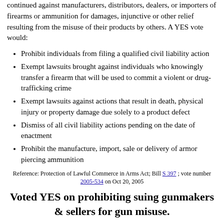continued against manufacturers, distributors, dealers, or importers of firearms or ammunition for damages, injunctive or other relief resulting from the misuse of their products by others. A YES vote would:
Prohibit individuals from filing a qualified civil liability action
Exempt lawsuits brought against individuals who knowingly transfer a firearm that will be used to commit a violent or drug-trafficking crime
Exempt lawsuits against actions that result in death, physical injury or property damage due solely to a product defect
Dismiss of all civil liability actions pending on the date of enactment
Prohibit the manufacture, import, sale or delivery of armor piercing ammunition
Reference: Protection of Lawful Commerce in Arms Act; Bill S 397 ; vote number 2005-534 on Oct 20, 2005
Voted YES on prohibiting suing gunmakers & sellers for gun misuse.
Vote to pass a bill that would prohibit liability lawsuits from being brought against gun manufacturers and dealers based on the criminal misuse of firearms. The bill would also block these actions from being brought up against gun trade organizations and against ammunition makers and sellers. The measure would apply immediately to any pending cases. Several specific exceptions to the ban exist. This includes civil suits would be allowed against a maker or dealer who "knowingly and willfully violated" state or